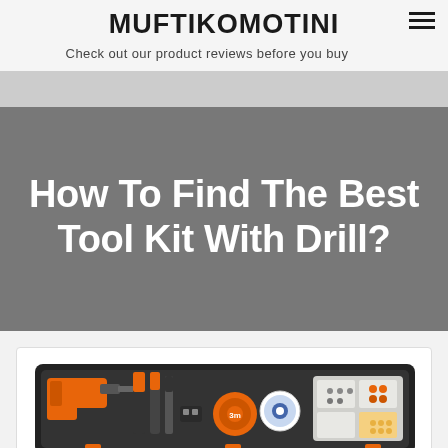MUFTIKOMOTINI
Check out our product reviews before you buy
How To Find The Best Tool Kit With Drill?
[Figure (photo): A black tool kit case open and filled with various tools including an orange drill/screwdriver, tape measure, screwdrivers, and a small parts organizer tray with screws and bits.]